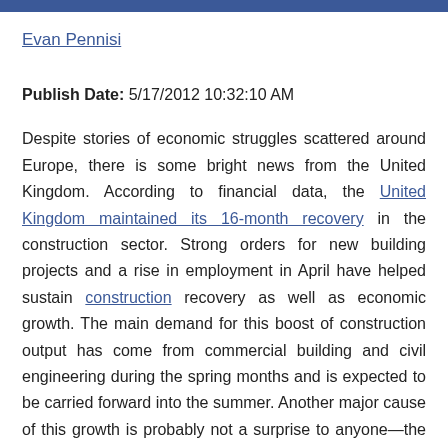Evan Pennisi
Publish Date: 5/17/2012 10:32:10 AM
Despite stories of economic struggles scattered around Europe, there is some bright news from the United Kingdom. According to financial data, the United Kingdom maintained its 16-month recovery in the construction sector. Strong orders for new building projects and a rise in employment in April have helped sustain construction recovery as well as economic growth. The main demand for this boost of construction output has come from commercial building and civil engineering during the spring months and is expected to be carried forward into the summer. Another major cause of this growth is probably not a surprise to anyone—the 2012 Summer